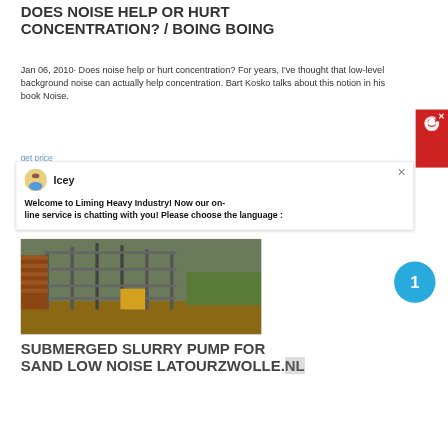DOES NOISE HELP OR HURT CONCENTRATION? / BOING BOING
Jan 06, 2010· Does noise help or hurt concentration? For years, I've thought that low-level background noise can actually help concentration. Bart Kosko talks about this notion in his book Noise.
get price
Icey
Welcome to Liming Heavy Industry! Now our on-line service is chatting with you! Please choose the language :
[Figure (photo): Construction site with industrial scaffolding, metal framework, and excavated earth in foreground.]
SUBMERGED SLURRY PUMP FOR SAND LOW NOISE LATOURZWOLLE.NL